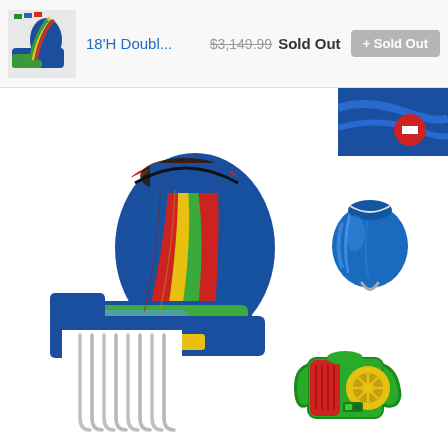18'H Doubl... $3,149.99 Sold Out + Sold Out
[Figure (photo): Partial view of a blue inflatable water slide product image in top-right corner]
[Figure (photo): Large colorful inflatable double water slide with blue base and red, green, yellow slide lanes with splash pool at the bottom]
[Figure (photo): Blue carry bag for inflatable]
[Figure (photo): Metal ground stakes/anchors (8 J-hooks)]
[Figure (photo): Green electric blower/fan with red and yellow accents for inflating the bounce house]